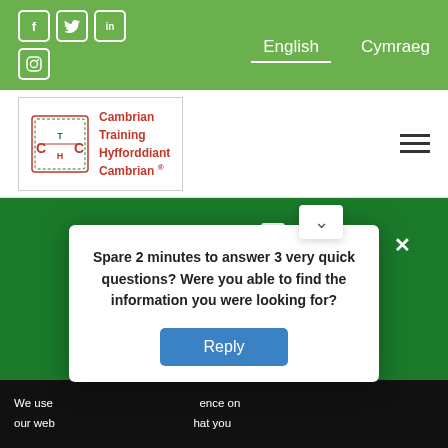Social icons: Facebook, Twitter, LinkedIn, Instagram | English | Cymraeg
[Figure (logo): Cambrian Training / Hyfforddiant Cambrian logo with CTC emblem and text]
[Figure (illustration): Green hero banner with white icons of a cupcake, pig, and water bottle, and bold text FOOD & DRINK]
We use ... ence on our web... hat you
Spare 2 minutes to answer 3 very quick questions? Were you able to find the information you were looking for?
Reply